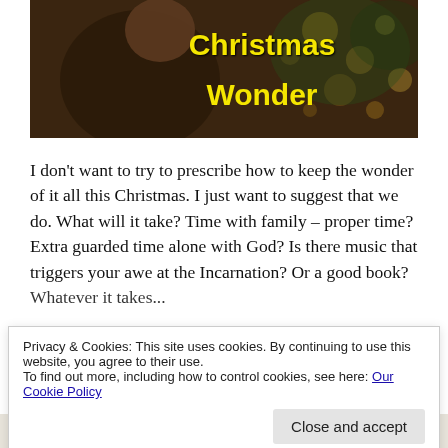[Figure (photo): Dark-toned photo of a person looking down, with bokeh Christmas tree lights in background. Yellow bold text overlay reads 'Christmas Wonder'.]
I don't want to try to prescribe how to keep the wonder of it all this Christmas. I just want to suggest that we do. What will it take? Time with family – proper time? Extra guarded time alone with God? Is there music that triggers your awe at the Incarnation? Or a good book? Whatever it takes...
Privacy & Cookies: This site uses cookies. By continuing to use this website, you agree to their use.
To find out more, including how to control cookies, see here: Our Cookie Policy
[Close and accept]
Let us build it for you